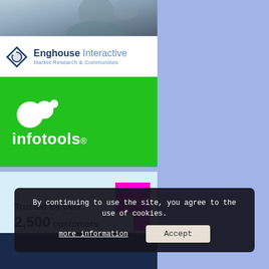[Figure (photo): Blurred background photo at top of left column]
[Figure (logo): Enghouse Interactive logo with diamond icon, text 'Enghouse Interactive' and subtitle 'Market Research & Communities']
[Figure (logo): InfoTools logo on green background with white circles and white text 'infotools']
Trusted by over 2,500 customers
By continuing to use the site, you agree to the use of cookies.
more information   Accept